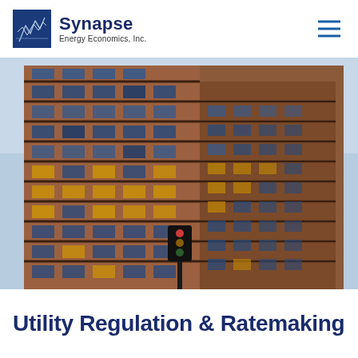Synapse Energy Economics, Inc.
[Figure (photo): Upward-angle exterior photograph of a tall brick office building with many reflective glass windows, showing warm interior lighting in some windows against a blue sky background.]
Utility Regulation & Ratemaking